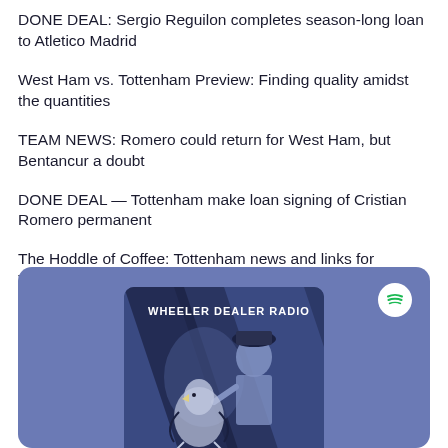DONE DEAL: Sergio Reguilon completes season-long loan to Atletico Madrid
West Ham vs. Tottenham Preview: Finding quality amidst the quantities
TEAM NEWS: Romero could return for West Ham, but Bentancur a doubt
DONE DEAL — Tottenham make loan signing of Cristian Romero permanent
The Hoddle of Coffee: Tottenham news and links for Tuesday, August 30
[Figure (illustration): Spotify embedded podcast card with blue/purple background showing 'Wheeler Dealer Radio' podcast cover art featuring a stylized figure with a Tottenham Hotspur cockerel motif in dark blue tones, with Spotify logo in top right corner]